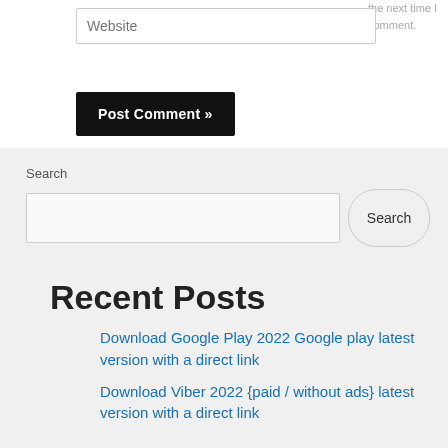the next time I comment.
Website
Post Comment »
Search
Search
Recent Posts
Download Google Play 2022 Google play latest version with a direct link
Download Viber 2022 {paid / without ads} latest version with a direct link